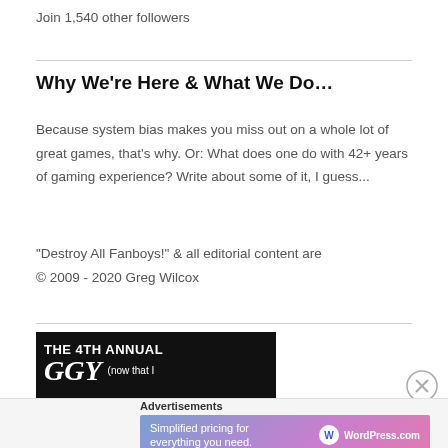Join 1,540 other followers
Why We're Here & What We Do…
Because system bias makes you miss out on a whole lot of great games, that's why. Or: What does one do with 42+ years of gaming experience? Write about some of it, I guess...
"Destroy All Fanboys!" & all editorial content are
© 2009 - 2020 Greg Wilcox
[Figure (screenshot): Banner for 'The 4th Annual' event with large stylized letters and text '(now that I']
Advertisements
[Figure (screenshot): WordPress.com advertisement banner: 'Simplified pricing for everything you need.' with WordPress.com logo on gradient pink/blue background]